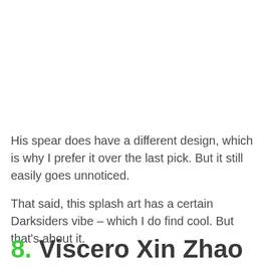His spear does have a different design, which is why I prefer it over the last pick. But it still easily goes unnoticed.
That said, this splash art has a certain Darksiders vibe – which I do find cool. But that's about it.
8. Viscero Xin Zhao